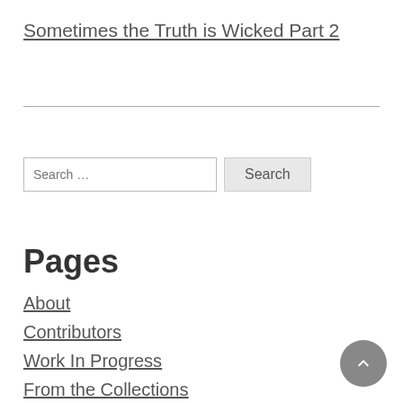Sometimes the Truth is Wicked Part 2
Search …
Pages
About
Contributors
Work In Progress
From the Collections
5 Minutes With…